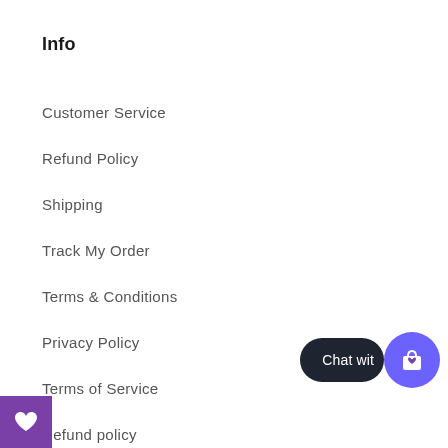Info
Customer Service
Refund Policy
Shipping
Track My Order
Terms & Conditions
Privacy Policy
Terms of Service
Refund policy
[Figure (screenshot): Chat widget button with dark pill shape saying 'Chat wit' and purple circle with shopping bag icon]